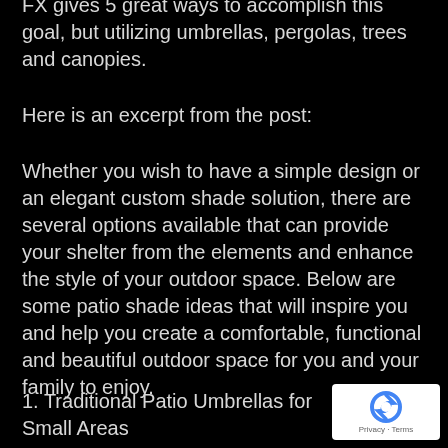FX gives 5 great ways to accomplish this goal, but utilizing umbrellas, pergolas, trees and canopies.
Here is an excerpt from the post:
Whether you wish to have a simple design or an elegant custom shade solution, there are several options available that can provide your shelter from the elements and enhance the style of your outdoor space. Below are some patio shade ideas that will inspire you and help you create a comfortable, functional and beautiful outdoor space for you and your family to enjoy.
1. Traditional Patio Umbrellas for Small Areas
[Figure (logo): reCAPTCHA badge with blue circular arrow logo and 'Privacy - Terms' text]